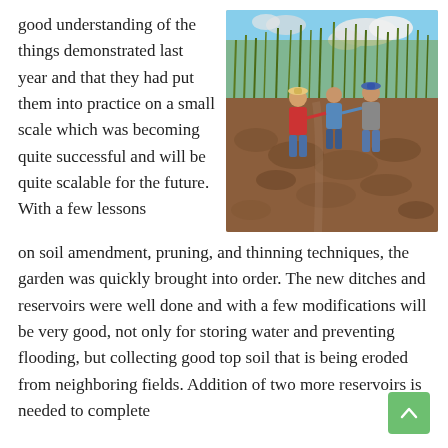good understanding of the things demonstrated last year and that they had put them into practice on a small scale which was becoming quite successful and will be quite scalable for the future. With a few lessons
[Figure (photo): Three men standing and talking on a dirt field with tall grass/sugar cane in the background and a blue sky with clouds above.]
on soil amendment, pruning, and thinning techniques, the garden was quickly brought into order. The new ditches and reservoirs were well done and with a few modifications will be very good, not only for storing water and preventing flooding, but collecting good top soil that is being eroded from neighboring fields. Addition of two more reservoirs is needed to complete